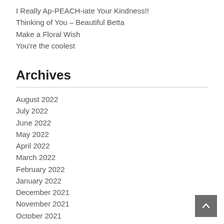I Really Ap-PEACH-iate Your Kindness!!
Thinking of You – Beautiful Betta
Make a Floral Wish
You're the coolest
Archives
August 2022
July 2022
June 2022
May 2022
April 2022
March 2022
February 2022
January 2022
December 2021
November 2021
October 2021